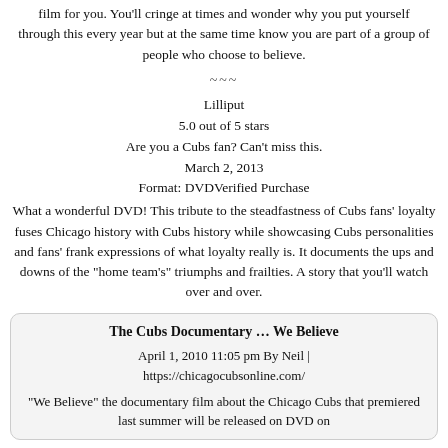film for you. You'll cringe at times and wonder why you put yourself through this every year but at the same time know you are part of a group of people who choose to believe.
~~~
Lilliput
5.0 out of 5 stars
Are you a Cubs fan? Can't miss this.
March 2, 2013
Format: DVDVerified Purchase
What a wonderful DVD! This tribute to the steadfastness of Cubs fans' loyalty fuses Chicago history with Cubs history while showcasing Cubs personalities and fans' frank expressions of what loyalty really is. It documents the ups and downs of the "home team's" triumphs and frailties. A story that you'll watch over and over.
The Cubs Documentary … We Believe
April 1, 2010 11:05 pm By Neil |
https://chicagocubsonline.com/
“We Believe” the documentary film about the Chicago Cubs that premiered last summer will be released on DVD on